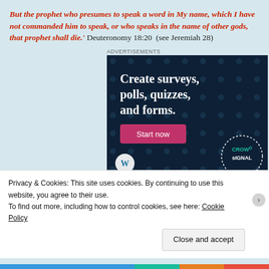But the prophet who presumes to speak a word in My name, which I have not commanded him to speak, or who speaks in the name of other gods, that prophet shall die.' Deuteronomy 18:20  (see Jeremiah 28)
[Figure (infographic): Crowdsignal advertisement showing dark navy background with polka dot pattern, bold white text reading 'Create surveys, polls, quizzes, and forms.' with a pink 'Start now' button, WordPress logo bottom left, and Crowdsignal circular logo bottom right.]
Privacy & Cookies: This site uses cookies. By continuing to use this website, you agree to their use.
To find out more, including how to control cookies, see here: Cookie Policy
Close and accept